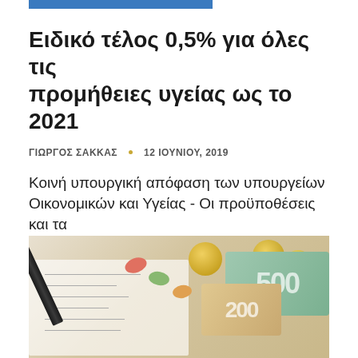Ειδικό τέλος 0,5% για όλες τις προμήθειες υγείας ως το 2021
ΓΙΩΡΓΟΣ ΣΑΚΚΑΣ · 12 ΙΟΥΝΙΟΥ, 2019
Κοινή υπουργική απόφαση των υπουργείων Οικονομικών και Υγείας - Οι προϋποθέσεις και τα απαιτούμενα δικαιολογητικά
ΔΕΙΤΕ ΤΟ ΑΡΘΡΟ
[Figure (photo): Photo of euro coins, euro banknotes (500, 200), colorful pills/capsules, and a pen on top of a receipt/invoice document]